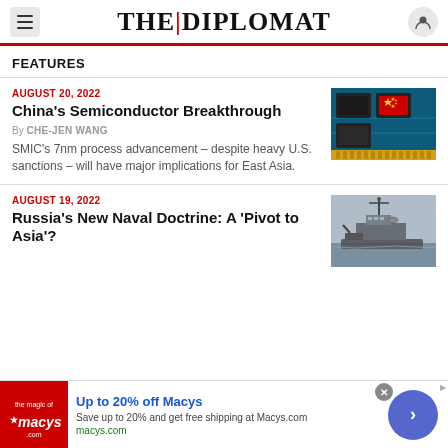THE DIPLOMAT
FEATURES
AUGUST 20, 2022
China's Semiconductor Breakthrough
By CHE-JEN WANG
SMIC's 7nm process advancement – despite heavy U.S. sanctions – will have major implications for East Asia.
[Figure (photo): Circuit board with Chinese flag on a semiconductor chip]
AUGUST 19, 2022
Russia's New Naval Doctrine: A 'Pivot to Asia'?
[Figure (photo): Russian naval warship at sea]
[Figure (photo): Macy's advertisement banner with logo and Up to 20% off Macys text]